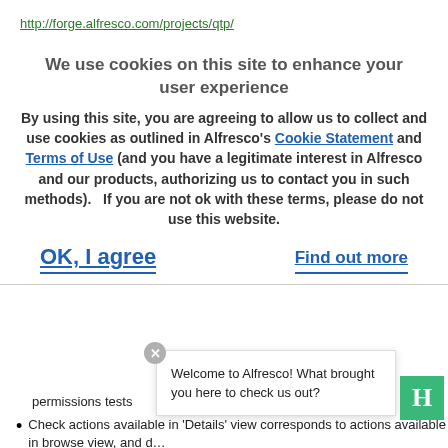http://forge.alfresco.com/projects/qtp/
We use cookies on this site to enhance your user experience
By using this site, you are agreeing to allow us to collect and use cookies as outlined in Alfresco's Cookie Statement and Terms of Use (and you have a legitimate interest in Alfresco and our products, authorizing us to contact you in such methods).   If you are not ok with these terms, please do not use this website.
OK, I agree
Find out more
permissions tests
Check actions available in 'Details' view corresponds to actions available in browse view, and d…
Labels :
Welcome to Alfresco! What brought you here to check us out?